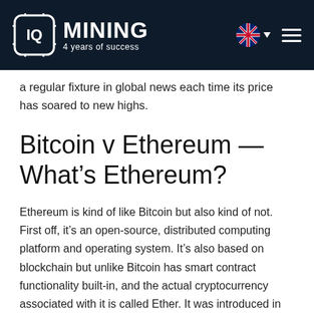IQ MINING — 4 years of success
a regular fixture in global news each time its price has soared to new highs.
Bitcoin v Ethereum — What's Ethereum?
Ethereum is kind of like Bitcoin but also kind of not. First off, it's an open-source, distributed computing platform and operating system. It's also based on blockchain but unlike Bitcoin has smart contract functionality built-in, and the actual cryptocurrency associated with it is called Ether. It was introduced in 2015 and has gained an awful lot of ground since then, rising to similar levels of prominence as Bitcoin, which is why the Bitcoin v Ethereum question is irrelevant